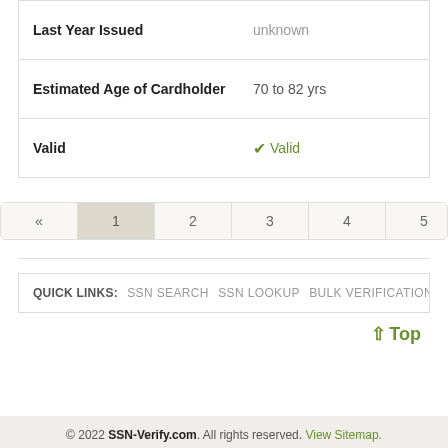| Last Year Issued | unknown |
| Estimated Age of Cardholder | 70 to 82 yrs |
| Valid | Valid |
Pagination: « 1 2 3 4 5 »
QUICK LINKS: SSN SEARCH  SSN LOOKUP  BULK VERIFICATION  SSN GENERATOR
↑ Top
© 2022 SSN-Verify.com. All rights reserved. View Sitemap.